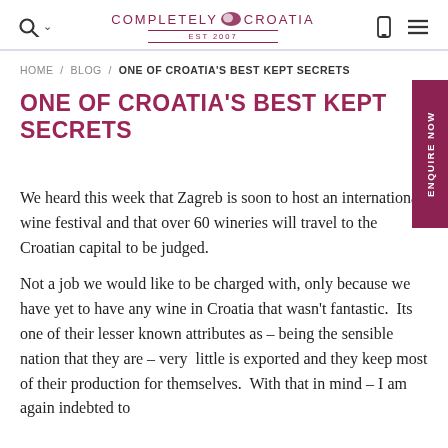COMPLETELY CROATIA — EST 2007
HOME / BLOG / ONE OF CROATIA'S BEST KEPT SECRETS
ONE OF CROATIA'S BEST KEPT SECRETS
We heard this week that Zagreb is soon to host an international wine festival and that over 60 wineries will travel to the Croatian capital to be judged.
Not a job we would like to be charged with, only because we have yet to have any wine in Croatia that wasn't fantastic.  Its one of their lesser known attributes as – being the sensible nation that they are – very  little is exported and they keep most of their production for themselves.  With that in mind – I am again indebted to